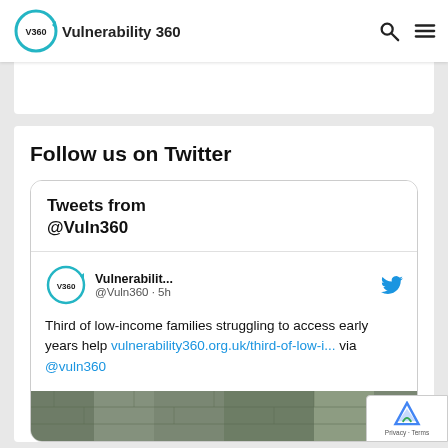Vulnerability 360
Follow us on Twitter
Tweets from @Vuln360
Vulnerabilit... @Vuln360 · 5h
Third of low-income families struggling to access early years help vulnerability360.org.uk/third-of-low-i... via @vuln360
[Figure (photo): Partial image strip at bottom of tweet card showing a dark tiled/brick background]